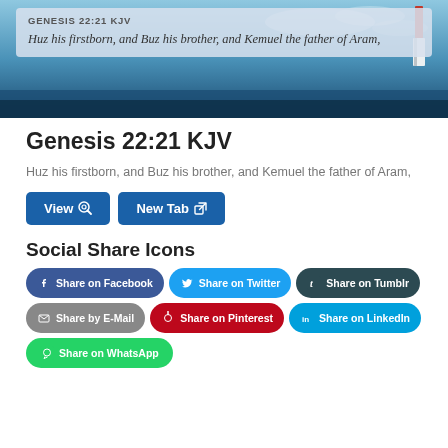[Figure (photo): Bible verse image banner with lighthouse and sky background, overlaid with Genesis 22:21 KJV reference and italic verse text: 'Huz his firstborn, and Buz his brother, and Kemuel the father of Aram,']
Genesis 22:21 KJV
Huz his firstborn, and Buz his brother, and Kemuel the father of Aram,
View
New Tab
Social Share Icons
Share on Facebook
Share on Twitter
Share on Tumblr
Share by E-Mail
Share on Pinterest
Share on LinkedIn
Share on WhatsApp